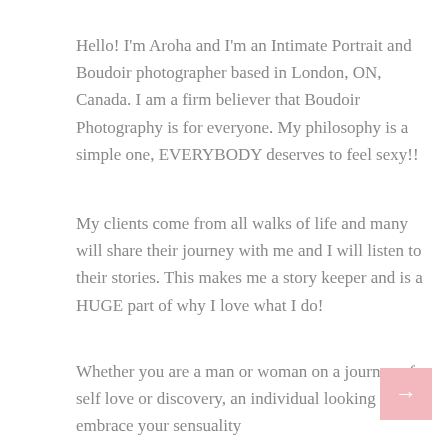Hello! I'm Aroha and I'm an Intimate Portrait and Boudoir photographer based in London, ON, Canada. I am a firm believer that Boudoir Photography is for everyone. My philosophy is a simple one, EVERYBODY deserves to feel sexy!!
My clients come from all walks of life and many will share their journey with me and I will listen to their stories. This makes me a story keeper and is a HUGE part of why I love what I do!
Whether you are a man or woman on a journey of self love or discovery, an individual looking to embrace your sensuality